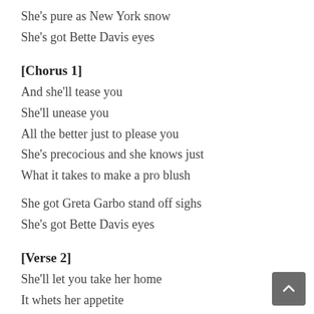She's pure as New York snow
She's got Bette Davis eyes
[Chorus 1]
And she'll tease you
She'll unease you
All the better just to please you
She's precocious and she knows just
What it takes to make a pro blush
She got Greta Garbo stand off sighs
She's got Bette Davis eyes
[Verse 2]
She'll let you take her home
It whets her appetite
She'll lay you on her throne